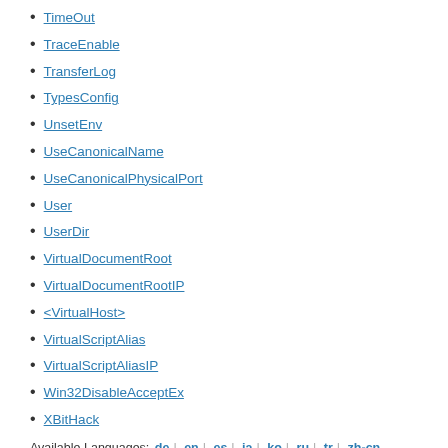TimeOut
TraceEnable
TransferLog
TypesConfig
UnsetEnv
UseCanonicalName
UseCanonicalPhysicalPort
User
UserDir
VirtualDocumentRoot
VirtualDocumentRootIP
<VirtualHost>
VirtualScriptAlias
VirtualScriptAliasIP
Win32DisableAcceptEx
XBitHack
Available Languages: de | en | es | ja | ko | ru | tr | zh-cn
Comments
Notice: This is not a Q&A section. Comments placed here should be pointed towards suggestions on improving the documentation or server, and may be removed again by our moderators if they are